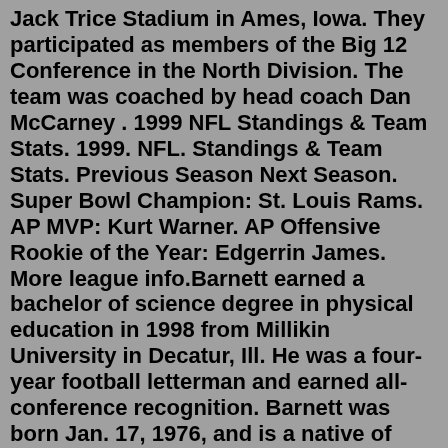Jack Trice Stadium in Ames, Iowa. They participated as members of the Big 12 Conference in the North Division. The team was coached by head coach Dan McCarney . 1999 NFL Standings & Team Stats. 1999. NFL. Standings & Team Stats. Previous Season Next Season. Super Bowl Champion: St. Louis Rams. AP MVP: Kurt Warner. AP Offensive Rookie of the Year: Edgerrin James. More league info.Barnett earned a bachelor of science degree in physical education in 1998 from Millikin University in Decatur, Ill. He was a four-year football letterman and earned all-conference recognition. Barnett was born Jan. 17, 1976, and is a native of Tuscola, Illinois. George and his wife, Lori, have two children, Elle and James. Illinois Football All-Time Rosters - 1975-1999 1890s: 1890 | 1891 | 1892 | 1893 | 1894 | 1895 | 1896 | 1897 | 1898 | 1899 1990s: 1900 | 1901 | 1902 | 1903The official 2021 Football Roster for the University of Colorado Buffs ... Iowa New Hampton/Iowa. Full Bio. Hide/Show Additional Information For Noah Fenske Mobile Icon Link: Mobile Icon Link: Mobile Icon